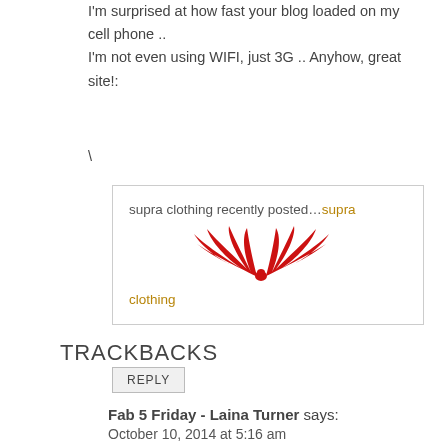I'm surprised at how fast your blog loaded on my cell phone ..
I'm not even using WIFI, just 3G .. Anyhow, great site!:
\
supra clothing recently posted…supra clothing
[Figure (logo): Red phoenix/eagle wings logo for supra clothing brand]
REPLY
TRACKBACKS
Fab 5 Friday - Laina Turner says:
October 10, 2014 at 5:16 am